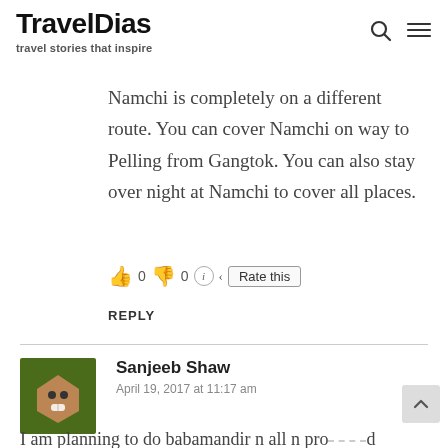TravelDias — travel stories that inspire
Namchi is completely on a different route. You can cover Namchi on way to Pelling from Gangtok. You can also stay over night at Namchi to cover all places.
👍 0 👎 0 ℹ️ ‹ Rate this
REPLY
Sanjeeb Shaw
April 19, 2017 at 11:17 am
I am planning to do babamandir n all n pro--- d towards namchi. Night stay here. Early mo do ñamchi sightseen n same day transfer to nip